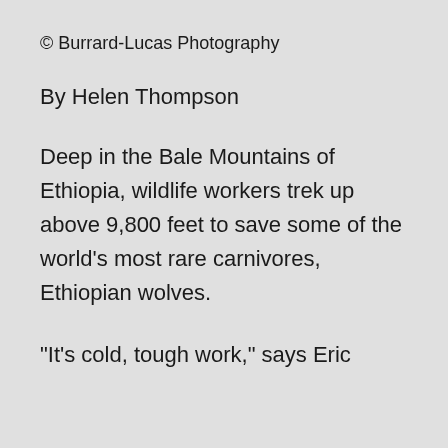© Burrard-Lucas Photography
By Helen Thompson
Deep in the Bale Mountains of Ethiopia, wildlife workers trek up above 9,800 feet to save some of the world's most rare carnivores, Ethiopian wolves.
“It’s cold, tough work,” says Eric